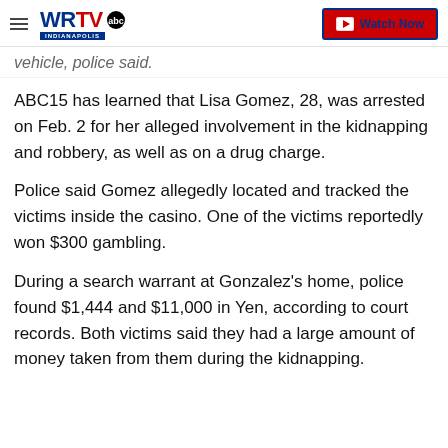WRTV Indianapolis | Watch Now
vehicle, police said.
ABC15 has learned that Lisa Gomez, 28, was arrested on Feb. 2 for her alleged involvement in the kidnapping and robbery, as well as on a drug charge.
Police said Gomez allegedly located and tracked the victims inside the casino. One of the victims reportedly won $300 gambling.
During a search warrant at Gonzalez's home, police found $1,444 and $11,000 in Yen, according to court records. Both victims said they had a large amount of money taken from them during the kidnapping.